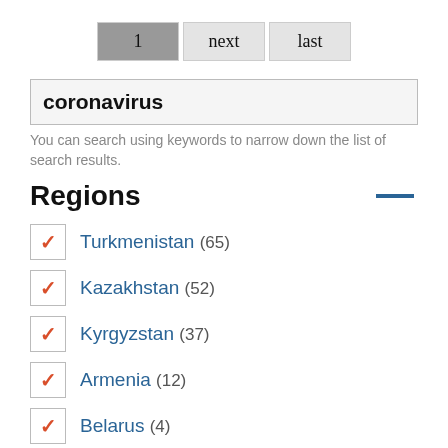1  next  last
coronavirus
You can search using keywords to narrow down the list of search results.
Regions
Turkmenistan (65)
Kazakhstan (52)
Kyrgyzstan (37)
Armenia (12)
Belarus (4)